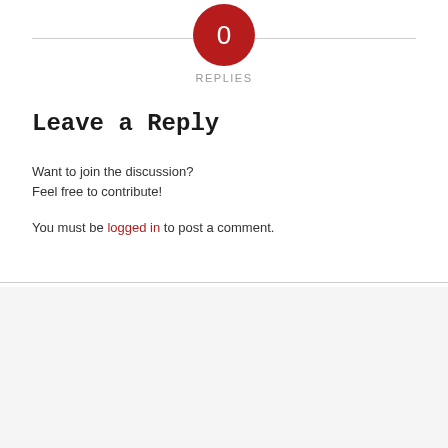[Figure (infographic): Red circle with white number 0 inside, centered at top, with horizontal divider line behind it]
REPLIES
Leave a Reply
Want to join the discussion?
Feel free to contribute!
You must be logged in to post a comment.
NAVIGATE
Home
Streakers Central
What's New